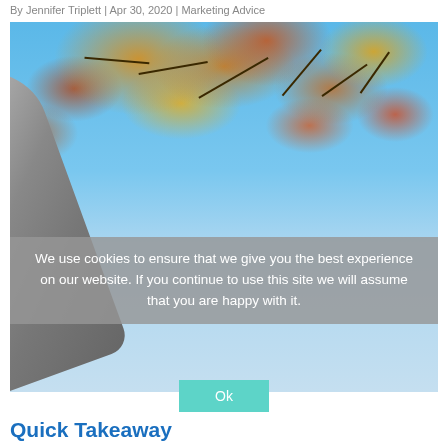By Jennifer Triplett | Apr 30, 2020 | Marketing Advice
[Figure (photo): Upward-looking photograph of an autumn tree with colorful orange, red, and yellow maple leaves against a blue sky, with a grey tree trunk in the foreground]
We use cookies to ensure that we give you the best experience on our website. If you continue to use this site we will assume that you are happy with it.
Ok
Quick Takeaway